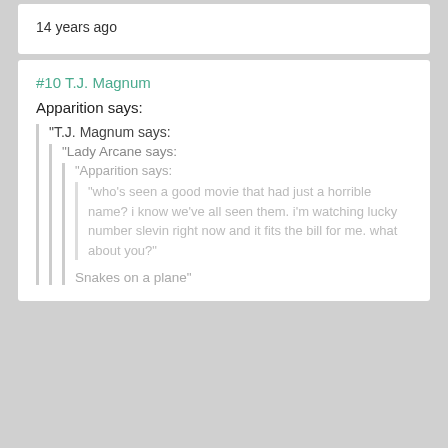14 years ago
#10 T.J. Magnum
Apparition says:
"T.J. Magnum says:
"Lady Arcane says:
"Apparition says:
"who's seen a good movie that had just a horrible name? i know we've all seen them. i'm watching lucky number slevin right now and it fits the bill for me. what about you?"
Snakes on a plane"